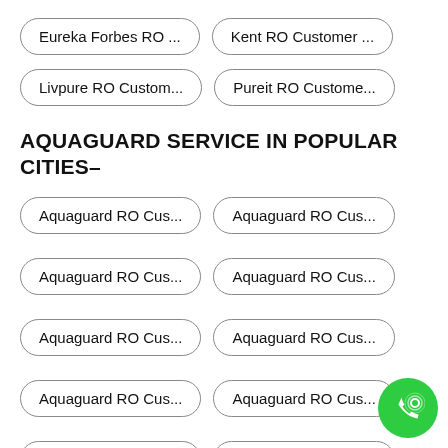Eureka Forbes RO ...
Kent RO Customer ...
Livpure RO Custom...
Pureit RO Custome...
AQUAGUARD SERVICE IN POPULAR CITIES–
Aquaguard RO Cus...
Aquaguard RO Cus...
Aquaguard RO Cus...
Aquaguard RO Cus...
Aquaguard RO Cus...
Aquaguard RO Cus...
Aquaguard RO Cus...
Aquaguard RO Cus...
Aquaguard RO Cus...
Aquaguard RO Cus...
Aquaguard RO Cus...
Aquaguard RO Cus...
Aquaguard RO Cus...
Aquaguard RO Cus...